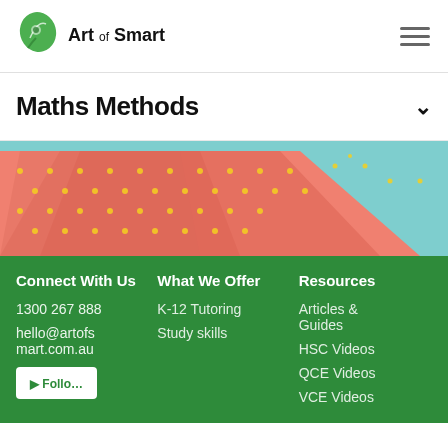Art of Smart
Maths Methods
[Figure (illustration): Decorative geometric pattern with coral/pink overlapping triangles with yellow polka dots on a light blue background]
Connect With Us
1300 267 888
hello@artofsmart.com.au
What We Offer
K-12 Tutoring
Study skills
Resources
Articles & Guides
HSC Videos
QCE Videos
VCE Videos